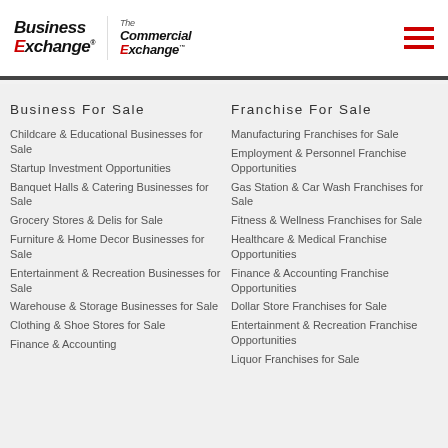[Figure (logo): Business Exchange and Commercial Exchange logos with hamburger menu icon]
Business For Sale
Childcare & Educational Businesses for Sale
Startup Investment Opportunities
Banquet Halls & Catering Businesses for Sale
Grocery Stores & Delis for Sale
Furniture & Home Decor Businesses for Sale
Entertainment & Recreation Businesses for Sale
Warehouse & Storage Businesses for Sale
Clothing & Shoe Stores for Sale
Finance & Accounting
Franchise For Sale
Manufacturing Franchises for Sale
Employment & Personnel Franchise Opportunities
Gas Station & Car Wash Franchises for Sale
Fitness & Wellness Franchises for Sale
Healthcare & Medical Franchise Opportunities
Finance & Accounting Franchise Opportunities
Dollar Store Franchises for Sale
Entertainment & Recreation Franchise Opportunities
Liquor Franchises for Sale